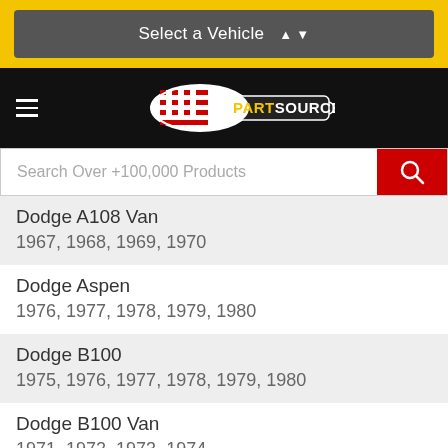Select a Vehicle ▲ ▼
[Figure (logo): PartSource logo with checkered flag on black background]
Search Over +100,000 Products
Dodge A108 Van
1967, 1968, 1969, 1970
Dodge Aspen
1976, 1977, 1978, 1979, 1980
Dodge B100
1975, 1976, 1977, 1978, 1979, 1980
Dodge B100 Van
1971, 1972, 1973, 1974